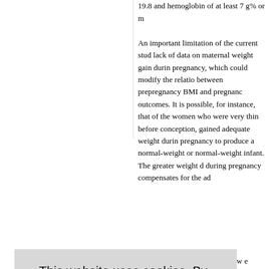19.8 and hemoglobin of at least 7 g% or
An important limitation of the current study was the lack of data on maternal weight gain during pregnancy, which could modify the relationship between prepregnancy BMI and pregnancy outcomes. It is possible, for instance, that some of the women who were very thin before conception, gained adequate weight during pregnancy to produce a normal-weight or normal-weight infant. The greater weight gain during pregnancy compensates for the adverse outcomes associated with low prepregnancy BMI. How women with low prepregnancy BMI are likely to behave in the men, even though the same.
the largest study conducted in the no nt to provide of a larger amount of potential mortality by taking similar and timely measures to improve maternal
This website uses cookies. By continuing to use this website you are giving consent to cookies being used. For information on cookies and how you can disable them visit our Privacy and Cookie Policy.
AGREE & PROCEED